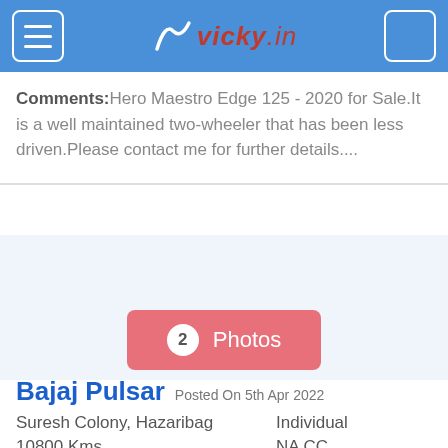vicky.in
Comments:Hero Maestro Edge 125 - 2020 for Sale.It is a well maintained two-wheeler that has been less driven.Please contact me for further details....
[Figure (other): Advertisement / image placeholder area with blue-gray background]
2 Photos
Bajaj Pulsar Posted On 5th Apr 2022
Suresh Colony, Hazaribag   Individual
10800 Kms   NA CC